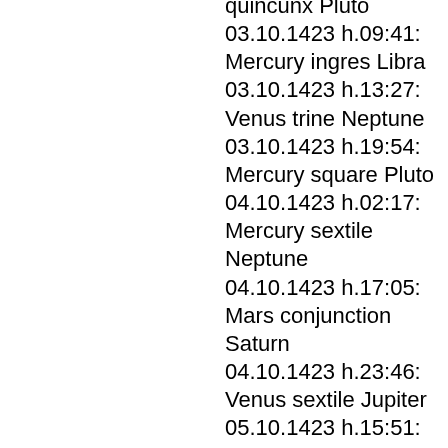quincunx Pluto
03.10.1423 h.09:41: Mercury ingres Libra
03.10.1423 h.13:27: Venus trine Neptune
03.10.1423 h.19:54: Mercury square Pluto
04.10.1423 h.02:17: Mercury sextile Neptune
04.10.1423 h.17:05: Mars conjunction Saturn
04.10.1423 h.23:46: Venus sextile Jupiter
05.10.1423 h.15:51: Mercury conjunction Jupiter
08.10.1423 h.15:08: Sun square Ceres
08.10.1423 h.23:18: Venus trine Kora
09.10.1423 h.00:04: Mercury opposition Kora
09.10.1423 h.00:20: Sun quincunx Uranus
09.10.1423 h.03:16: Mercury sextile Venus
10.10.1423 h.02:52: Ceres trine